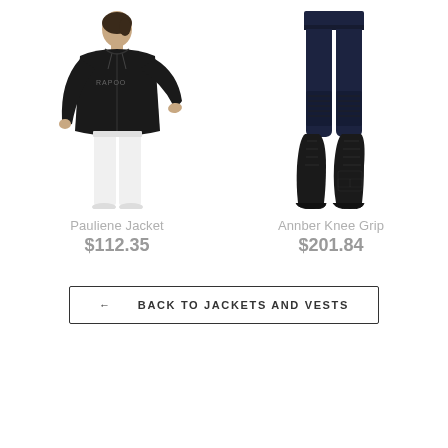[Figure (photo): Woman wearing a black zip-up hoodie jacket with logo text and white pants, posing with one hand on hip]
Pauliene Jacket
$112.35
[Figure (photo): Close-up of legs wearing navy blue knee grip breeches and tall black lace-up riding boots]
Annber Knee Grip
$201.84
← BACK TO JACKETS AND VESTS